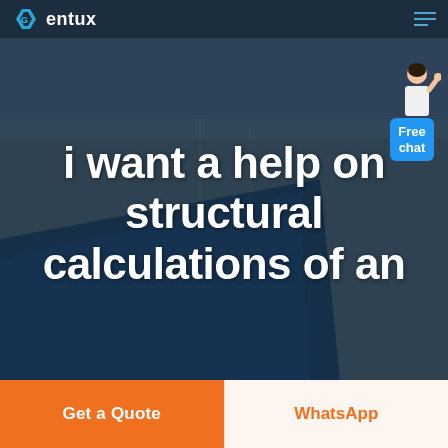Gentux — navigation bar with logo and hamburger menu
[Figure (screenshot): Aerial photograph of a large industrial/construction site with blue steel roof structures and flat landscape, used as hero background image]
[Figure (illustration): Free chat widget: illustrated customer service person in white jacket with blue chat bubble showing 'Free chat']
i want a help on structural calculations of an
Get a Quote
WhatsApp